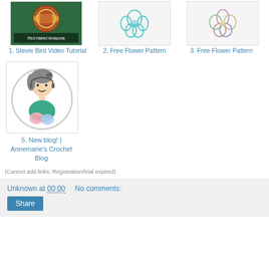[Figure (photo): Colorful crochet bird video tutorial thumbnail with text overlay]
[Figure (illustration): Light blue free flower crochet pattern on white background]
[Figure (illustration): Pastel free flower crochet pattern on white background]
1. Stevie Bird Video Tutorial
2. Free Flower Pattern
3. Free Flower Pattern
[Figure (illustration): Line drawing of a girl with yarn in a circle logo - Annemarie's Crochet Blog avatar]
5. New blog! | Annemarie's Crochet Blog
(Cannot add links: Registration/trial expired)
Unknown at 00:00    No comments:
Share